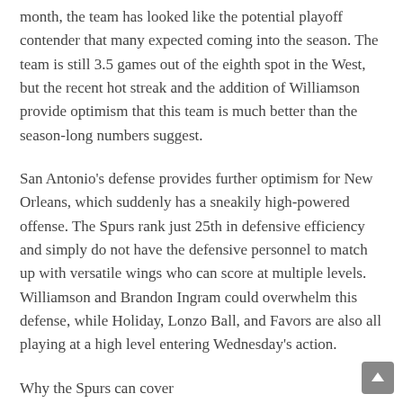month, the team has looked like the potential playoff contender that many expected coming into the season. The team is still 3.5 games out of the eighth spot in the West, but the recent hot streak and the addition of Williamson provide optimism that this team is much better than the season-long numbers suggest.
San Antonio's defense provides further optimism for New Orleans, which suddenly has a sneakily high-powered offense. The Spurs rank just 25th in defensive efficiency and simply do not have the defensive personnel to match up with versatile wings who can score at multiple levels. Williamson and Brandon Ingram could overwhelm this defense, while Holiday, Lonzo Ball, and Favors are also all playing at a high level entering Wednesday's action.
Why the Spurs can cover
Just because the Pelicans have the offensive weapons to